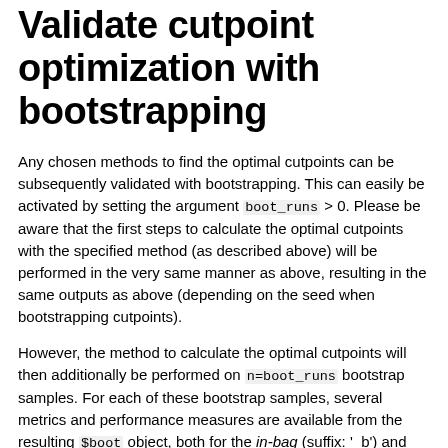Validate cutpoint optimization with bootstrapping
Any chosen methods to find the optimal cutpoints can be subsequently validated with bootstrapping. This can easily be activated by setting the argument boot_runs > 0. Please be aware that the first steps to calculate the optimal cutpoints with the specified method (as described above) will be performed in the very same manner as above, resulting in the same outputs as above (depending on the seed when bootstrapping cutpoints).
However, the method to calculate the optimal cutpoints will then additionally be performed on n=boot_runs bootstrap samples. For each of these bootstrap samples, several metrics and performance measures are available from the resulting $boot object, both for the in-bag (suffix: '_b') and the out-of-bag (suffix: '_oob') bootstrap samples. Please note that the optimal cutpoint is determined on the in-bag samples only and then just applied to the out-of-bag samples for validation purposes, so its value is available only once in the $boot object without a